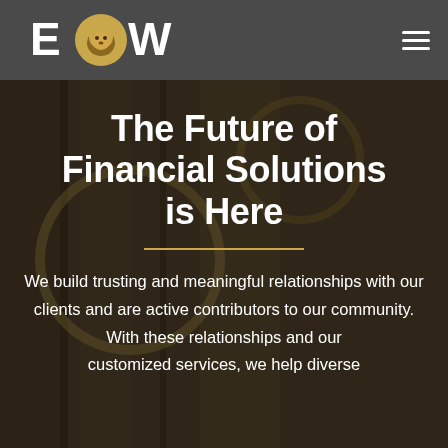EOW — navigation bar with logo and hamburger menu
The Future of Financial Solutions is Here
We build trusting and meaningful relationships with our clients and are active contributors to our community. With these relationships and our customized services, we help diverse